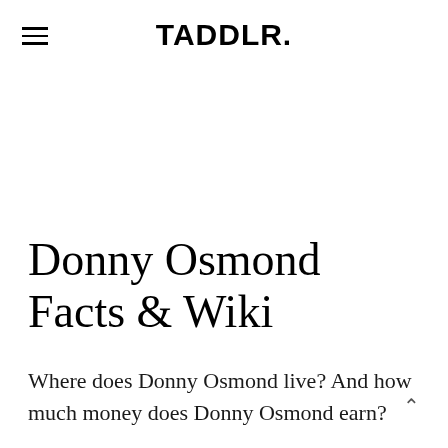TADDLR.
Donny Osmond Facts & Wiki
Where does Donny Osmond live? And how much money does Donny Osmond earn?